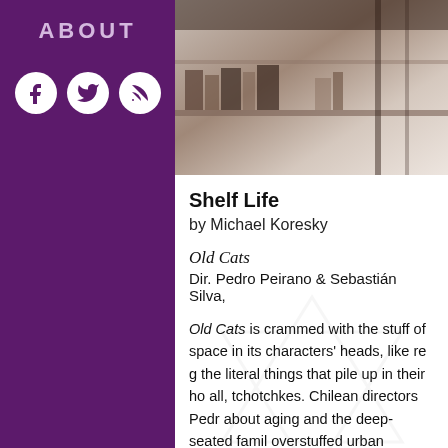ABOUT
[Figure (illustration): Three social media icons (Facebook, Twitter, RSS) as white circles on purple background]
[Figure (photo): Photograph showing shelves or storage space, dark and muted tones]
Shelf Life
by Michael Koresky
Old Cats
Dir. Pedro Peirano & Sebastián Silva,
Old Cats is crammed with the stuff of space in its characters' heads, like re the literal things that pile up in their h all, tchotchkes. Chilean directors Ped about aging and the deep-seated fam overstuffed urban apartment visible i yet awoken, but its objects seem to collected and displayed have made th roosters, wooden carved horses, pill clearly waiting for some force to upe
The...